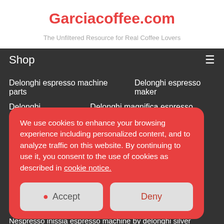Garciacoffee.com
The Unfiltered Resource for Real Coffee Lovers
Shop
Delonghi espresso machine parts    Delonghi espresso maker
Delonghi espresso    Delonghi magnifica espresso machine
Delonghi magnifica fully automatic espresso and cappuccino machine
We use cookies to enhance your browsing experience including personalized content, and to analyze traffic on this website. By continuing to use it, you consent to the use of cookies as described in cookie notice.
Nespresso inissia espresso machine by delonghi silver